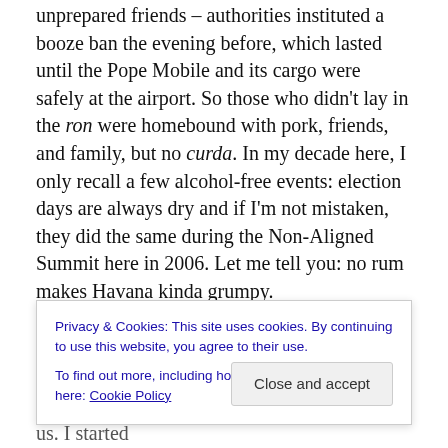Except – and this was a rude awakening for several of my unprepared friends – authorities instituted a booze ban the evening before, which lasted until the Pope Mobile and its cargo were safely at the airport. So those who didn't lay in the ron were homebound with pork, friends, and family, but no curda. In my decade here, I only recall a few alcohol-free events: election days are always dry and if I'm not mistaken, they did the same during the Non-Aligned Summit here in 2006. Let me tell you: no rum makes Havana kinda grumpy.
Revenue coup:
The cleverness of Cuba never ceases to
Privacy & Cookies: This site uses cookies. By continuing to use this website, you agree to their use.
To find out more, including how to control cookies, see here: Cookie Policy
not a gin and tonic in sight, clearly not one of us. I started